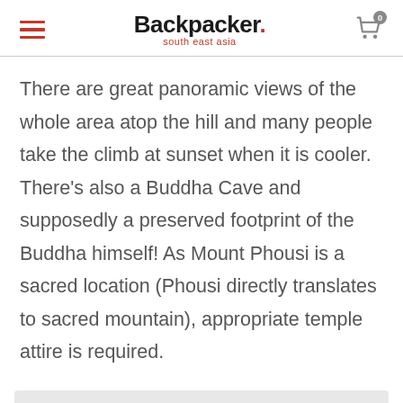Backpacker. south east asia
There are great panoramic views of the whole area atop the hill and many people take the climb at sunset when it is cooler. There’s also a Buddha Cave and supposedly a preserved footprint of the Buddha himself! As Mount Phousi is a sacred location (Phousi directly translates to sacred mountain), appropriate temple attire is required.
[Figure (other): Gray placeholder box at the bottom of the page]